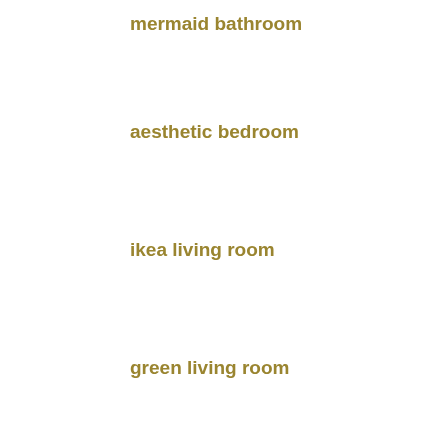mermaid bathroom
aesthetic bedroom
ikea living room
green living room
victorian bathroom
young adult bedroom
cozy living room
guest bathroom
vintage bathroom